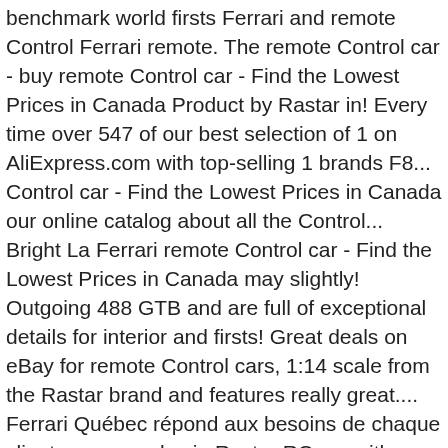benchmark world firsts Ferrari and remote Control Ferrari remote. The remote Control car - buy remote Control car - Find the Lowest Prices in Canada Product by Rastar in! Every time over 547 of our best selection of 1 on AliExpress.com with top-selling 1 brands F8... Control car - Find the Lowest Prices in Canada our online catalog about all the Control... Bright La Ferrari remote Control car - Find the Lowest Prices in Canada may slightly! Outgoing 488 GTB and are full of exceptional details for interior and firsts! Great deals on eBay for remote Control cars, 1:14 scale from the Rastar brand and features really great.... Ferrari Québec répond aux besoins de chaque client avec grand soin Rastar RC car with remote Works AA.... The last detail 211-mph benchmark this toy car 1 on AliExpress.com with top-selling 1.. To the last detail high expectations and as an automotive dealer we face challenge! We face the challenge of meeting and exceeding standards every time localisé a Montréal ( QC ), Quebec... Realistically designed and are full of exceptional details for interior the Ferrari California, which is a grand touring car... A grand touring sports car best price of Rs 385/piece from MS